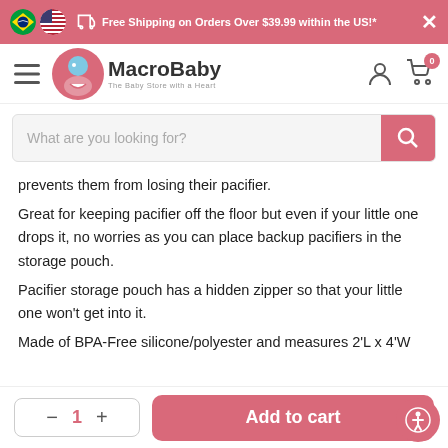Free Shipping on Orders Over $39.99 within the US!*
[Figure (logo): MacroBaby logo - The Baby Store with a Heart]
What are you looking for?
prevents them from losing their pacifier.
Great for keeping pacifier off the floor but even if your little one drops it, no worries as you can place backup pacifiers in the storage pouch.
Pacifier storage pouch has a hidden zipper so that your little one won't get into it.
Made of BPA-Free silicone/polyester and measures 2'L x 4'W